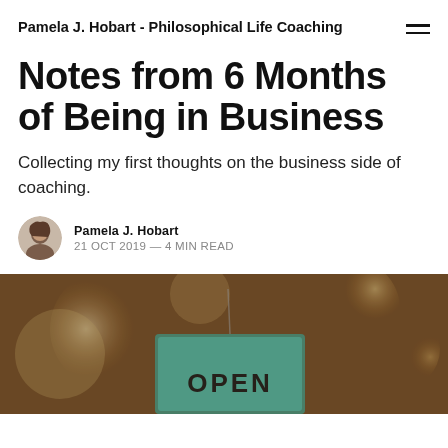Pamela J. Hobart - Philosophical Life Coaching
Notes from 6 Months of Being in Business
Collecting my first thoughts on the business side of coaching.
Pamela J. Hobart
21 OCT 2019 — 4 MIN READ
[Figure (photo): Photo of a blurred bokeh interior scene with warm lights and an OPEN sign hanging in the foreground]